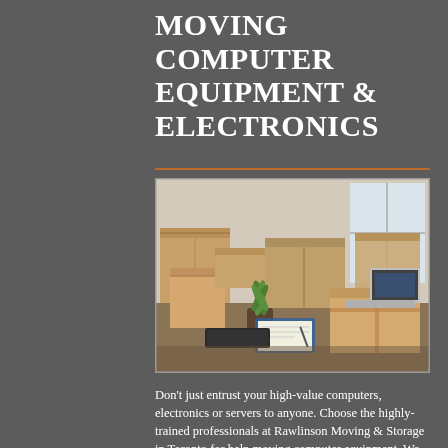MOVING COMPUTER EQUIPMENT & ELECTRONICS
[Figure (photo): Photo of cardboard moving boxes stacked in a room with a laptop on one box, a small plant, clipboard with papers, and bright windows in the background.]
Don't just entrust your high-value computers, electronics or servers to anyone. Choose the highly-trained professionals at Rawlinson Moving & Storage in Toronto for help moving computer equipment. We have...